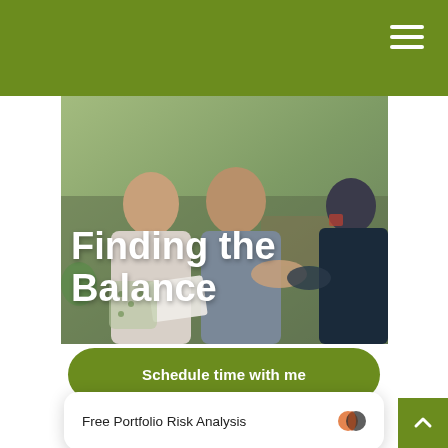[Figure (photo): Two people (a woman and a man) smiling and shaking hands with a financial advisor in a living room setting. The man and woman are seated on a sofa holding documents; the advisor's back is to the camera.]
Finding the Balance
Finding the Balance
The sandwich generation faces unique challenges. For m... ding a
[Figure (other): Schedule time with me — green CTA button overlay]
[Figure (other): Free Portfolio Risk Analysis widget with orange icon]